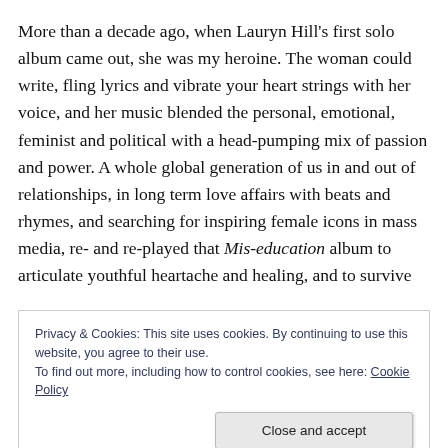More than a decade ago, when Lauryn Hill's first solo album came out, she was my heroine. The woman could write, fling lyrics and vibrate your heart strings with her voice, and her music blended the personal, emotional, feminist and political with a head-pumping mix of passion and power. A whole global generation of us in and out of relationships, in long term love affairs with beats and rhymes, and searching for inspiring female icons in mass media, re- and re-played that Mis-education album to articulate youthful heartache and healing, and to survive
Privacy & Cookies: This site uses cookies. By continuing to use this website, you agree to their use.
To find out more, including how to control cookies, see here: Cookie Policy
Close and accept
confidence. There are songs from that album I can't listen